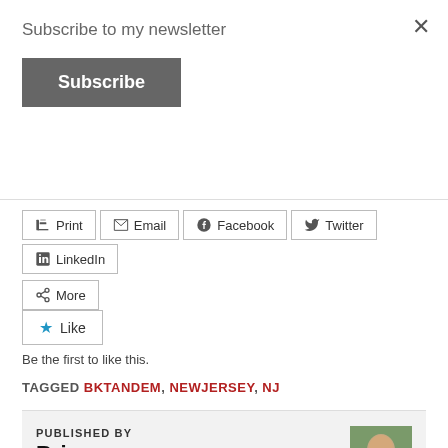Subscribe to my newsletter
Subscribe
✕
Print
Email
Facebook
Twitter
LinkedIn
More
Like
Be the first to like this.
TAGGED BKTANDEM, NEWJERSEY, NJ
PUBLISHED BY
Brian
View all posts by Brian